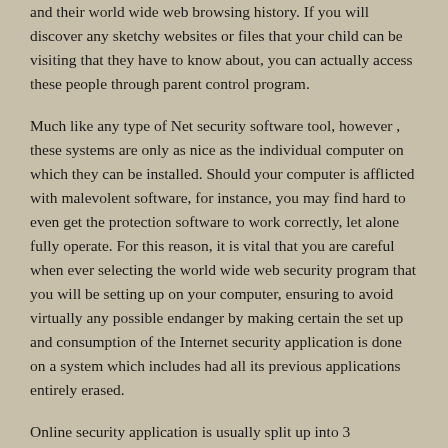and their world wide web browsing history. If you will discover any sketchy websites or files that your child can be visiting that they have to know about, you can actually access these people through parent control program.
Much like any type of Net security software tool, however , these systems are only as nice as the individual computer on which they can be installed. Should your computer is afflicted with malevolent software, for instance, you may find hard to even get the protection software to work correctly, let alone fully operate. For this reason, it is vital that you are careful when ever selecting the world wide web security program that you will be setting up on your computer, ensuring to avoid virtually any possible endanger by making certain the set up and consumption of the Internet security application is done on a system which includes had all its previous applications entirely erased.
Online security application is usually split up into 3 categories: totally free, shareware, and paid services. Of course , the best of them services will be those which present unlimited access and don't need a monthly subscription fee; additionally , these